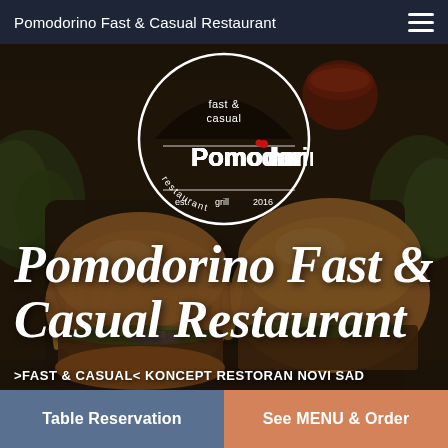Pomodorino Fast & Casual Restaurant
[Figure (photo): Overhead/front photo of burgers with fries on a black tray with sauce and salad, dark moody food photography background]
[Figure (logo): Circular logo: 'fast & casual' text at top, large 'Pomodorino' text with red dot on i, 'est. grill 2016 restaurant' text at bottom inside circle]
Pomodorino Fast & Casual Restaurant
>FAST & CASUAL< KONCEPT RESTORAN NOVI SAD
Table Reservation
See MENU & Order